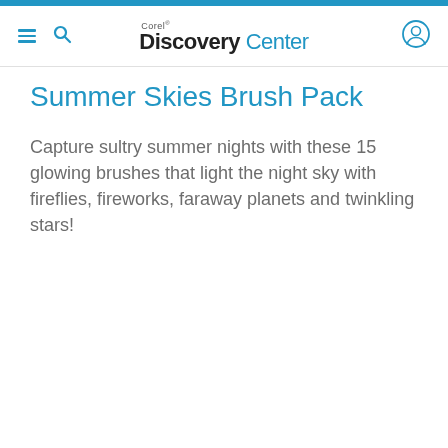Corel Discovery Center
Summer Skies Brush Pack
Capture sultry summer nights with these 15 glowing brushes that light the night sky with fireflies, fireworks, faraway planets and twinkling stars!